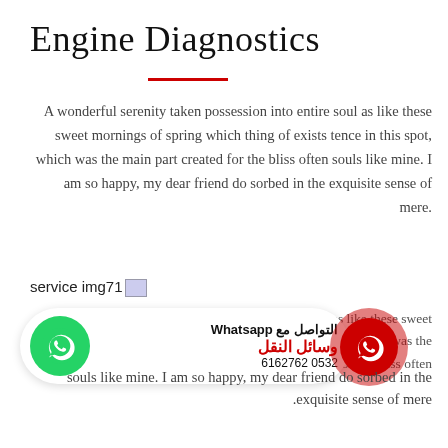Engine Diagnostics
A wonderful serenity taken possession into entire soul as like these sweet mornings of spring which thing of exists tence in this spot, which was the main part created for the bliss often souls like mine. I am so happy, my dear friend do sorbed in the exquisite sense of mere.
service img71
[Figure (infographic): WhatsApp contact overlay with green WhatsApp icon circle on left, Arabic text 'التواصل مع Whatsapp وسائل النقل' and phone number 6162762 0532, and red WhatsApp icon circle on right]
A wonderful serenity taken possession into entire soul as like these sweet mornings of spring which thing of exists tence in this spot, which was the main part created for the bliss often souls like mine. I am so happy, my dear friend do sorbed in the exquisite sense of mere.